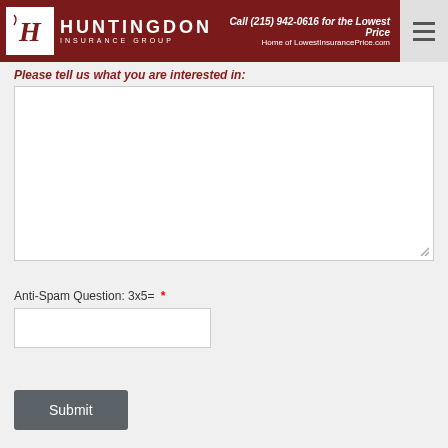Huntingdon Insurance Group — Call (215) 942-0616 for the Lowest Price — Home of LowestInsurancePrice.com
Please tell us what you are interested in:
Anti-Spam Question: 3x5= *
Submit